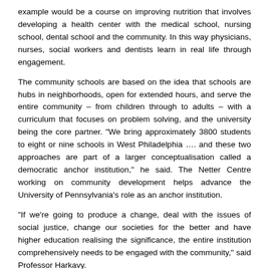example would be a course on improving nutrition that involves developing a health center with the medical school, nursing school, dental school and the community. In this way physicians, nurses, social workers and dentists learn in real life through engagement.
The community schools are based on the idea that schools are hubs in neighborhoods, open for extended hours, and serve the entire community – from children through to adults – with a curriculum that focuses on problem solving, and the university being the core partner. "We bring approximately 3800 students to eight or nine schools in West Philadelphia …. and these two approaches are part of a larger conceptualisation called a democratic anchor institution," he said. The Netter Centre working on community development helps advance the University of Pennsylvania's role as an anchor institution.
"If we're going to produce a change, deal with the issues of social justice, change our societies for the better and have higher education realising the significance, the entire institution comprehensively needs to be engaged with the community," said Professor Harkavy.
The economic, academic and co-curricular aspects of the institution are brought together in local partnerships so that the impacts are optimal and maximal, not only on the community, but also on the institution. This makes the institution come alive, he said.